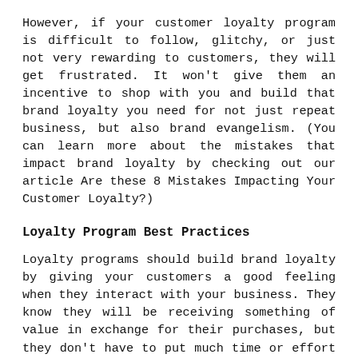However, if your customer loyalty program is difficult to follow, glitchy, or just not very rewarding to customers, they will get frustrated. It won't give them an incentive to shop with you and build that brand loyalty you need for not just repeat business, but also brand evangelism. (You can learn more about the mistakes that impact brand loyalty by checking out our article Are these 8 Mistakes Impacting Your Customer Loyalty?)
Loyalty Program Best Practices
Loyalty programs should build brand loyalty by giving your customers a good feeling when they interact with your business. They know they will be receiving something of value in exchange for their purchases, but they don't have to put much time or effort into collecting or cashing in their rewards.